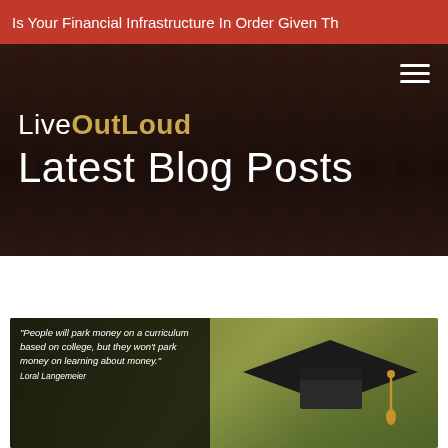Is Your Financial Infrastructure In Order Given Th
[Figure (screenshot): LiveOutLoud website hero section with dark brown background, logo 'LiveOutLoud' in white and gold, and large white text 'Latest Blog Posts'. A hamburger menu icon appears top right.]
[Figure (photo): Blog post thumbnail image: graduation cap sitting on top of scattered $100 bills, with overlaid dark semi-transparent box containing quote: 'People will park money on a curriculum based on college, but they won't park money on learning about money.' - Loral Langemeier]